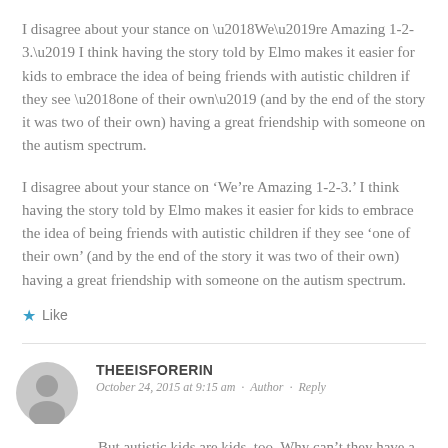I disagree about your stance on ‘We’re Amazing 1-2-3.’ I think having the story told by Elmo makes it easier for kids to embrace the idea of being friends with autistic children if they see ‘one of their own’ (and by the end of the story it was two of their own) having a great friendship with someone on the autism spectrum.
★ Like
THEEISFORERIN
October 24, 2015 at 9:15 am · Author · Reply
But autistic kids are kids, too. Why can’t they have a story about themselves?